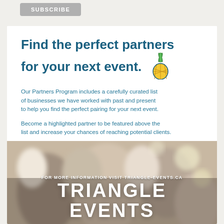SUBSCRIBE
Find the perfect partners for your next event.
Our Partners Program includes a carefully curated list of businesses we have worked with past and present to help you find the perfect pairing for your next event.
Become a highlighted partner to be featured above the list and increase your chances of reaching potential clients.
[Figure (photo): Blurred background photo of people at an event/celebration, used as background for the Triangle Events branding section]
FOR MORE INFORMATION VISIT TRIANGLE-EVENTS.CA
TRIANGLE EVENTS